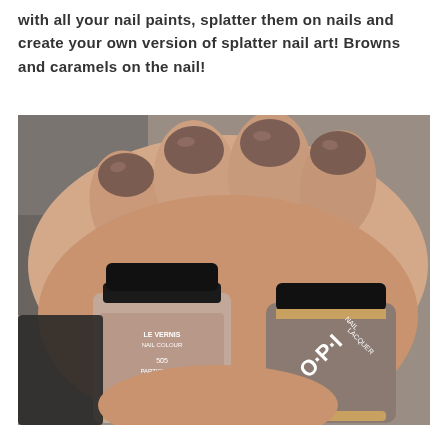with all your nail paints, splatter them on nails and create your own version of splatter nail art! Browns and caramels on the nail!
[Figure (photo): A hand with nails painted in brown/taupe color, holding two nail polish bottles: Chanel Le Vernis Nail Colour 505 Particuliere and OPI Nail Lacquer, both in similar brown/taupe tones.]